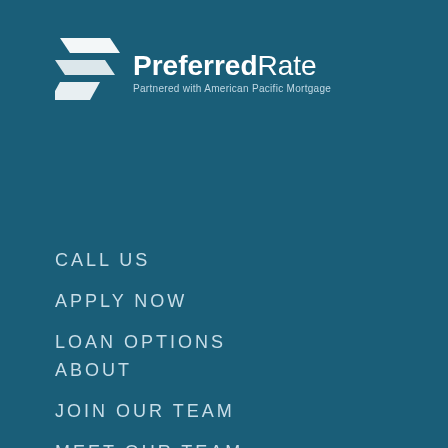[Figure (logo): PreferredRate logo with white geometric stacked chevron/ribbon icon and text 'PreferredRate' with tagline 'Partnered with American Pacific Mortgage']
CALL US
APPLY NOW
LOAN OPTIONS
ABOUT
JOIN OUR TEAM
MEET OUR TEAM